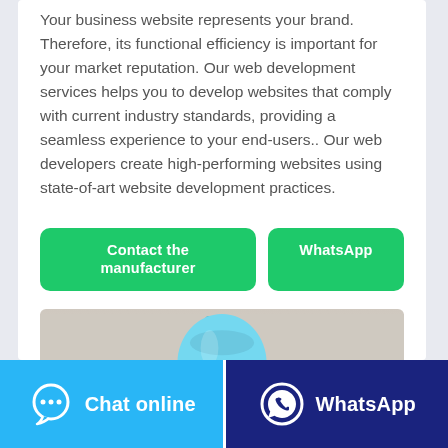Your business website represents your brand. Therefore, its functional efficiency is important for your market reputation. Our web development services helps you to develop websites that comply with current industry standards, providing a seamless experience to your end-users.. Our web developers create high-performing websites using state-of-art website development practices.
[Figure (screenshot): Two green buttons: 'Contact the manufacturer' and 'WhatsApp']
[Figure (photo): A teal/blue bottle of liquid product (partially visible, bottom cropped)]
[Figure (screenshot): Footer bar with two buttons: 'Chat online' (blue, speech bubble icon) and 'WhatsApp' (dark blue, WhatsApp icon)]